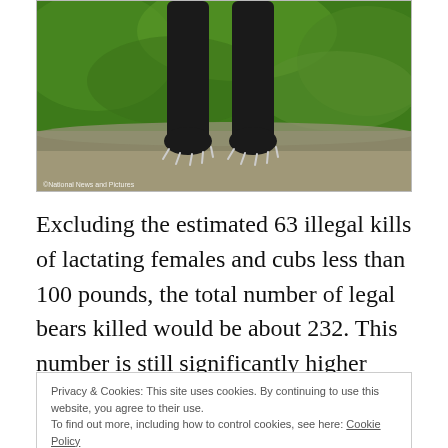[Figure (photo): Close-up photo of black bear paws/legs standing on a rock with green foliage background. Photo credit: © National News and Pictures]
Excluding the estimated 63 illegal kills of lactating females and cubs less than 100 pounds, the total number of legal bears killed would be about 232. This number is still significantly higher than the 183 estimated by Ms. Eggeman; however, this does not consider the amount
Privacy & Cookies: This site uses cookies. By continuing to use this website, you agree to their use.
To find out more, including how to control cookies, see here: Cookie Policy
The fact of the matter is that had the hunters strictly